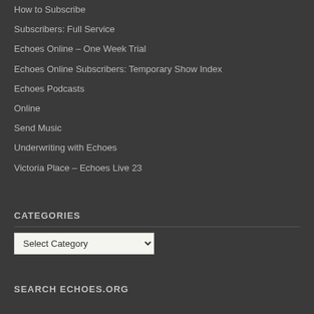How to Subscribe
Subscribers: Full Service
Echoes Online – One Week Trial
Echoes Online Subscribers: Temporary Show Index
Echoes Podcasts
Online
Send Music
Underwriting with Echoes
Victoria Place – Echoes Live 23
CATEGORIES
SEARCH ECHOES.ORG